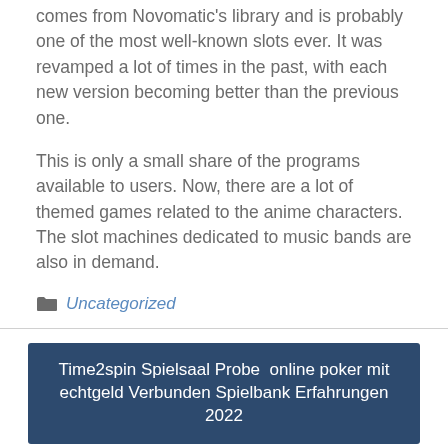comes from Novomatic's library and is probably one of the most well-known slots ever. It was revamped a lot of times in the past, with each new version becoming better than the previous one.
This is only a small share of the programs available to users. Now, there are a lot of themed games related to the anime characters. The slot machines dedicated to music bands are also in demand.
Uncategorized
Time2spin Spielsaal Probe  online poker mit echtgeld Verbunden Spielbank Erfahrungen 2022
Queen Of free vegasplus The Nile
Search...